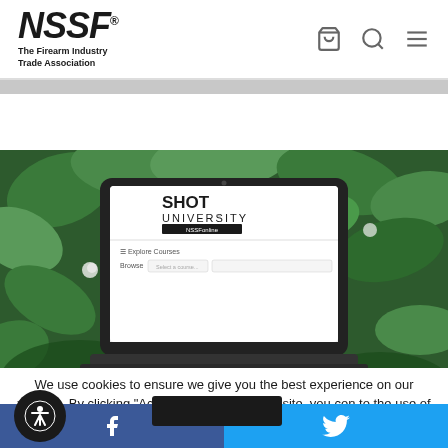NSSF® The Firearm Industry Trade Association
[Figure (screenshot): Hero image showing a laptop displaying SHOT University NSSFonline website, with green foliage background]
We use cookies to ensure we give you the best experience on our website. By clicking "Accept" or using our website, you consent to the use of cookies unless you have disabled them.
[Figure (other): Social media footer bar with Facebook and Twitter icons]